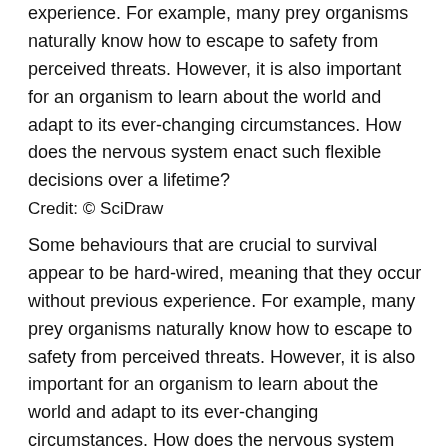experience. For example, many prey organisms naturally know how to escape to safety from perceived threats. However, it is also important for an organism to learn about the world and adapt to its ever-changing circumstances. How does the nervous system enact such flexible decisions over a lifetime?
Credit: © SciDraw
Some behaviours that are crucial to survival appear to be hard-wired, meaning that they occur without previous experience. For example, many prey organisms naturally know how to escape to safety from perceived threats. However, it is also important for an organism to learn about the world and adapt to its ever-changing circumstances. How does the nervous system enact such flexible decisions over a lifetime?